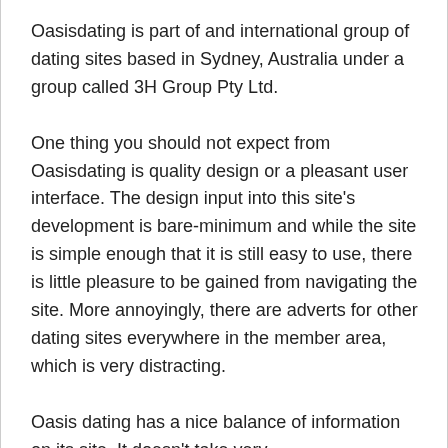Oasisdating is part of and international group of dating sites based in Sydney, Australia under a group called 3H Group Pty Ltd.
One thing you should not expect from Oasisdating is quality design or a pleasant user interface. The design input into this site's development is bare-minimum and while the site is simple enough that it is still easy to use, there is little pleasure to be gained from navigating the site. More annoyingly, there are adverts for other dating sites everywhere in the member area, which is very distracting.
Oasis dating has a nice balance of information on its site. It doesn't take very